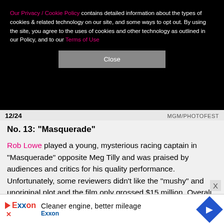Our Privacy / Cookie Policy contains detailed information about the types of cookies & related technology on our site, and some ways to opt out. By using the site, you agree to the uses of cookies and other technology as outlined in our Policy, and to our Terms of Use
Close
12/24   MGM/PHOTOFEST
No. 13: "Masquerade"
Rob Lowe played a young, mysterious racing captain in "Masquerade" opposite Meg Tilly and was praised by audiences and critics for his quality performance. Unfortunately, some reviewers didn't like the "mushy" and unoriginal plot and the film only grossed $15 million. Overall, the 1988 movie is pretty good, but it's not even close to Rob's best.
Cleaner engine, better mileage Exxon